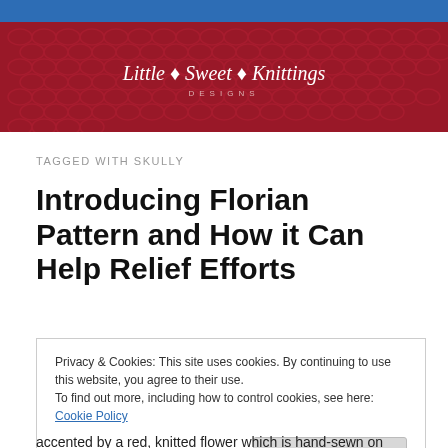[Figure (illustration): Little Sweet Knittings Designs logo on a red knitted texture background banner]
TAGGED WITH SKULLY
Introducing Florian Pattern and How it Can Help Relief Efforts
Privacy & Cookies: This site uses cookies. By continuing to use this website, you agree to their use.
To find out more, including how to control cookies, see here: Cookie Policy
[Close and accept button]
accented by a red, knitted flower which is hand-sewn on